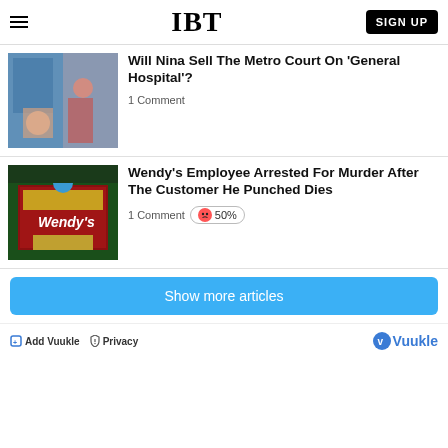IBT | SIGN UP
Will Nina Sell The Metro Court On 'General Hospital'?
1 Comment
Wendy's Employee Arrested For Murder After The Customer He Punched Dies
1 Comment  😠 50%
Show more articles
Add Vuukle  Privacy  Vuukle